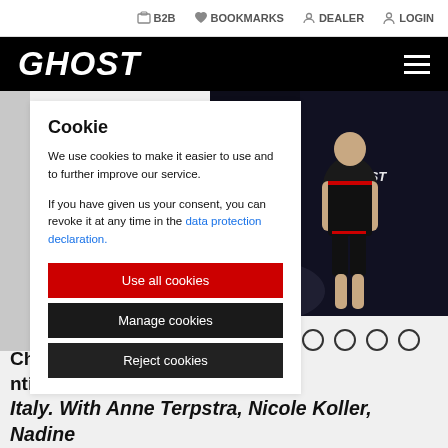B2B  BOOKMARKS  DEALER  LOGIN
GHOST
Cookie
We use cookies to make it easier to use and to further improve our service.
If you have given us your consent, you can revoke it at any time in the data protection declaration.
[Figure (photo): Person wearing Ghost branded black cycling kit with red accents standing against dark background]
Use all cookies
Manage cookies
Reject cookies
Championships took ntil 29 in Val di Sole, Italy. With Anne Terpstra, Nicole Koller, Nadine